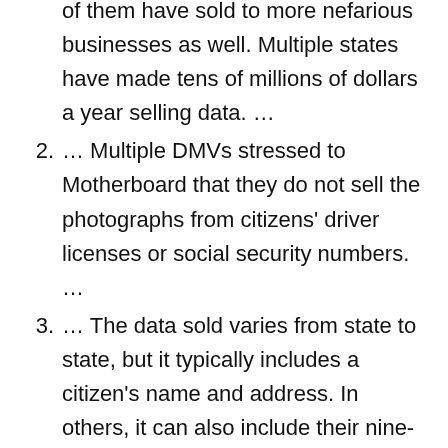… of them have sold to more nefarious businesses as well. Multiple states have made tens of millions of dollars a year selling data. …
2. … Multiple DMVs stressed to Motherboard that they do not sell the photographs from citizens' driver licenses or social security numbers. …
3. … The data sold varies from state to state, but it typically includes a citizen's name and address. In others, it can also include their nine-digit ZIP code, date of birth, phone number, and email address.
…